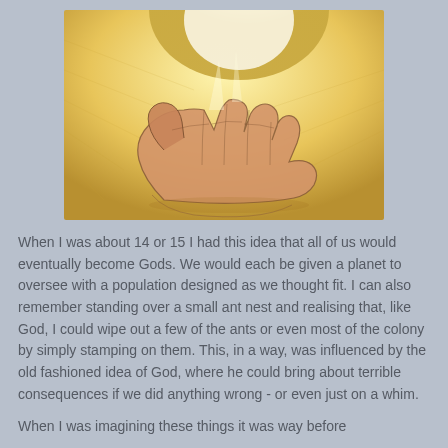[Figure (illustration): A golden-toned artistic illustration of an open hand with light radiating from the upper portion, styled as a sketch or painting with warm yellow and golden hues.]
When I was about 14 or 15 I had this idea that all of us would eventually become Gods. We would each be given a planet to oversee with a population designed as we thought fit. I can also remember standing over a small ant nest and realising that, like God, I could wipe out a few of the ants or even most of the colony by simply stamping on them. This, in a way, was influenced by the old fashioned idea of God, where he could bring about terrible consequences if we did anything wrong - or even just on a whim.
When I was imagining these things it was way before